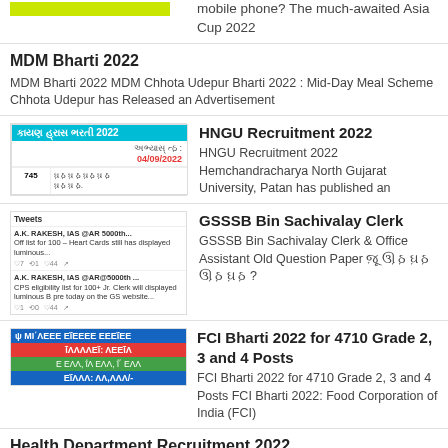mobile phone? The much-awaited Asia Cup 2022
MDM Bharti 2022
MDM Bharti 2022 MDM Chhota Udepur Bharti 2022 : Mid-Day Meal Scheme Chhota Udepur has Released an Advertisement
[Figure (screenshot): HNGU recruitment thumbnail with date 04/09/2022 and number 745]
HNGU Recruitment 2022
HNGU Recruitment 2022 Hemchandracharya North Gujarat University, Patan has published an
[Figure (screenshot): Tweets thumbnail showing AK Rakesh tweets]
GSSSB Bin Sachivalay Clerk
GSSSB Bin Sachivalay Clerk & Office Assistant Old Question Paper ?
[Figure (screenshot): FCI Bharti 2022 thumbnail with blue, red, green, blue color rows showing 4710 posts and salary 50,000/-]
FCI Bharti 2022 for 4710 Grade 2, 3 and 4 Posts
FCI Bharti 2022 for 4710 Grade 2, 3 and 4 Posts FCI Bharti 2022: Food Corporation of India (FCI)
Health Department Recruitment 2022
Health Department Recruitment 2022 for Various Post National Health Mission (Health Department Recruitment 2022 ) has
[Figure (screenshot): SBI Recruitment 2022 thumbnail with dark top bar and SBI logo]
SBI Recruitment 2022
SBI Recruitment 2022 State Bank of India (SBI)